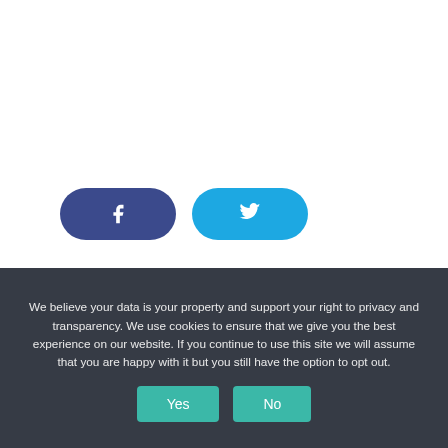[Figure (other): Facebook share button (dark blue pill-shaped) and Twitter share button (light blue pill-shaped) with white icons]
All Posts, Relationships
We believe your data is your property and support your right to privacy and transparency. We use cookies to ensure that we give you the best experience on our website. If you continue to use this site we will assume that you are happy with it but you still have the option to opt out.
Yes
No